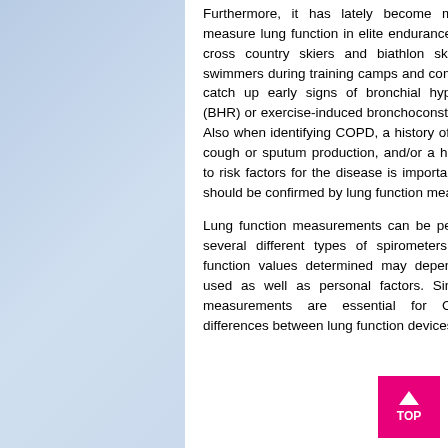Furthermore, it has lately become more common to measure lung function in elite endurance athletes such as cross country skiers and biathlon skiers, but also in swimmers during training camps and competitions trying to catch up early signs of bronchial hyperresponsiveness (BHR) or exercise-induced bronchoconstriction (EIB) [6, 7]. Also when identifying COPD, a history of dyspnea, chronic cough or sputum production, and/or a history of exposure to risk factors for the disease is important but a diagnosis should be confirmed by lung function measurements [8].
Lung function measurements can be performed by using several different types of spirometers. Thus, the lung function values determined may depend on the device used as well as personal factors. Since lung function measurements are essential for COPD diagnosis, differences between lung function devices may induce